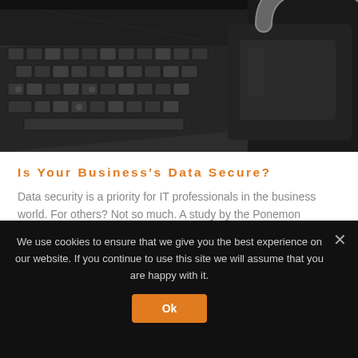[Figure (photo): Black and white photo of a computer keyboard with a black padlock on the right side, representing data security]
Is Your Business's Data Secure?
Data security is a priority for IT professionals in the business world. For others? Not so much. A study by the Ponemon Institute reported that only about 38 percent of non-IT employees with access to company devices viewed data
We use cookies to ensure that we give you the best experience on our website. If you continue to use this site we will assume that you are happy with it.